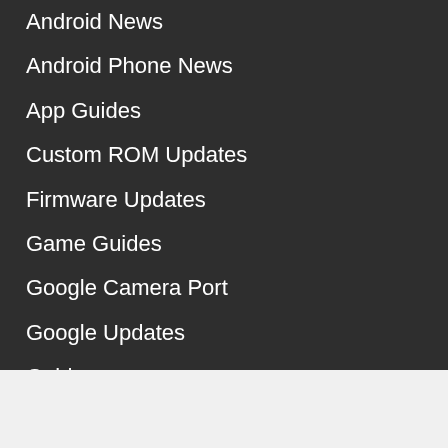Android News
Android Phone News
App Guides
Custom ROM Updates
Firmware Updates
Game Guides
Google Camera Port
Google Updates
Guides
How to Guides
Leaks
YouTube News